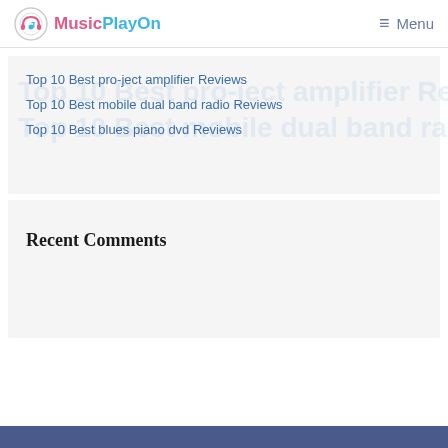MusicPlayOn | Menu
Top 10 Best pro-ject amplifier Reviews
Top 10 Best mobile dual band radio Reviews
Top 10 Best blues piano dvd Reviews
Recent Comments